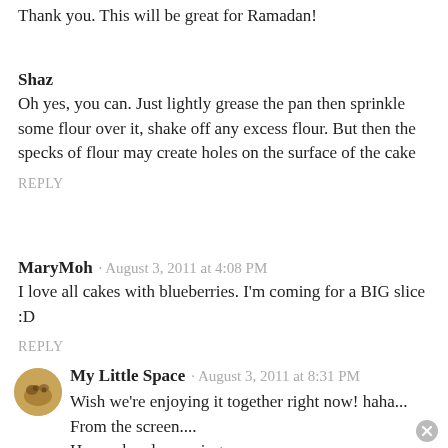Thank you. This will be great for Ramadan!
Shaz
Oh yes, you can. Just lightly grease the pan then sprinkle some flour over it, shake off any excess flour. But then the specks of flour may create holes on the surface of the cake
REPLY
MaryMoh · August 3, 2011 at 4:08 PM
I love all cakes with blueberries. I'm coming for a BIG slice :D
REPLY
My Little Space · August 3, 2011 at 8:31 PM
Wish we're enjoying it together right now! haha... From the screen.... Have a lovely evening.
[Figure (photo): Small circular avatar showing baked goods/cookies, brown tones]